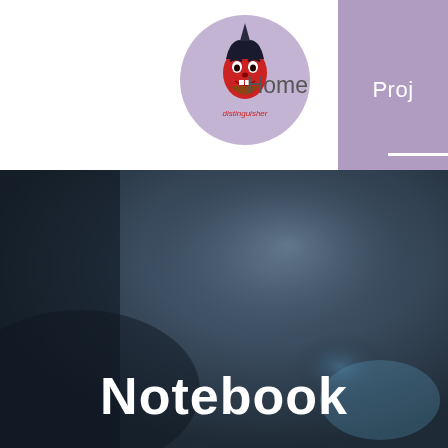[Figure (logo): Circular logo with purple/lavender background featuring a red demon/oni mask illustration with the text 'distinguisher' below it]
Home
Proj
[Figure (photo): Dark blurred close-up photo of what appears to be a notebook or book, with blue/dark tones, serving as a hero background image]
Notebook